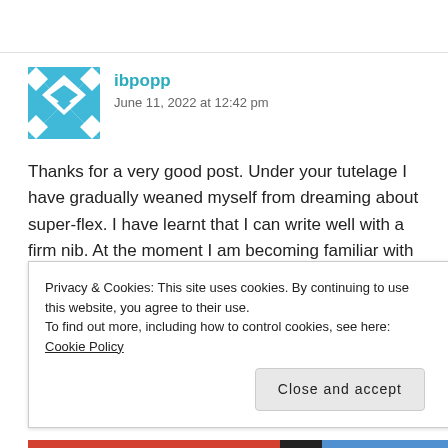[Figure (illustration): Gravatar/avatar icon — blue geometric diamond/cross pattern on white square]
ibpopp
June 11, 2022 at 12:42 pm
Thanks for a very good post. Under your tutelage I have gradually weaned myself from dreaming about super-flex. I have learnt that I can write well with a firm nib. At the moment I am becoming familiar with a Conway Stewart DURO nib, and can see why it has been so popular.
Reply
Privacy & Cookies: This site uses cookies. By continuing to use this website, you agree to their use.
To find out more, including how to control cookies, see here: Cookie Policy
Close and accept